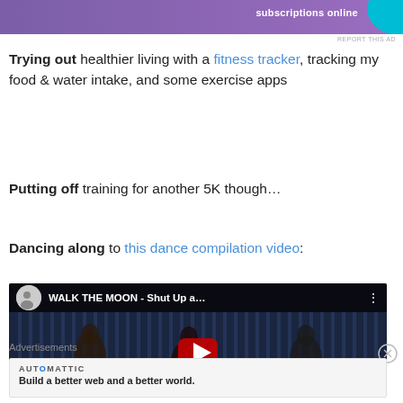[Figure (screenshot): Top advertisement banner with purple gradient background and 'subscriptions online' text with teal wave element and 'REPORT THIS AD' label]
Trying out healthier living with a fitness tracker, tracking my food & water intake, and some exercise apps
Putting off training for another 5K though…
Dancing along to this dance compilation video:
[Figure (screenshot): YouTube video embed showing WALK THE MOON - Shut Up a... with performers on stage with blue background lighting and a red YouTube play button]
Advertisements
[Figure (screenshot): Automattic advertisement: Build a better web and a better world.]